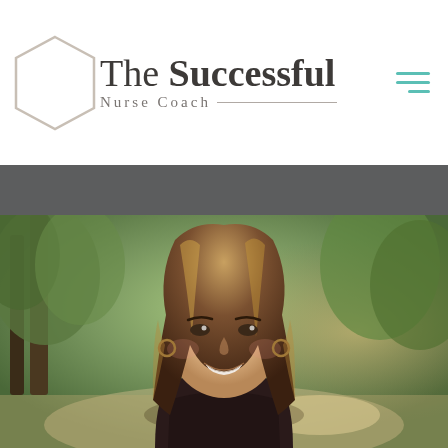[Figure (logo): The Successful Nurse Coach logo with hexagon outline on the left and serif text on the right reading 'The Successful' on top line and 'Nurse Coach' with a horizontal rule below]
[Figure (photo): Portrait photo of a smiling woman with long brown highlighted hair, wearing a dark patterned top, photographed outdoors with blurred green trees in the background]